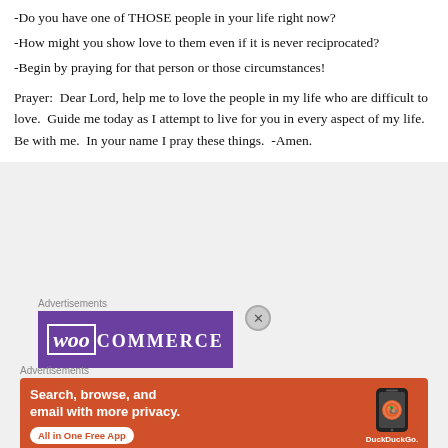-Do you have one of THOSE people in your life right now?
-How might you show love to them even if it is never reciprocated?
-Begin by praying for that person or those circumstances!
Prayer:  Dear Lord, help me to love the people in my life who are difficult to love.  Guide me today as I attempt to live for you in every aspect of my life.  Be with me.  In your name I pray these things.  -Amen.
[Figure (screenshot): WooCommerce advertisement banner with purple background]
[Figure (screenshot): DuckDuckGo advertisement banner with orange background showing phone and app download CTA]